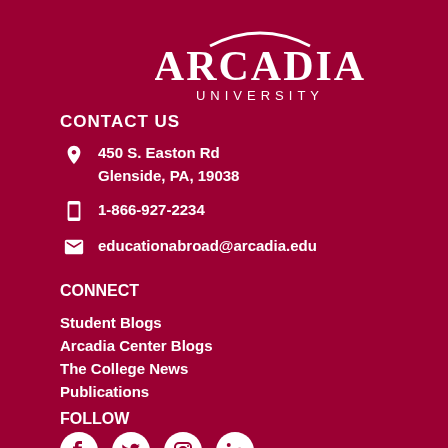[Figure (logo): Arcadia University logo: stylized text ARCADIA with arc decoration above and UNIVERSITY below]
CONTACT US
450 S. Easton Rd
Glenside, PA, 19038
1-866-927-2234
educationabroad@arcadia.edu
CONNECT
Student Blogs
Arcadia Center Blogs
The College News
Publications
FOLLOW
[Figure (illustration): Social media icons: Facebook, Twitter, Instagram, LinkedIn]